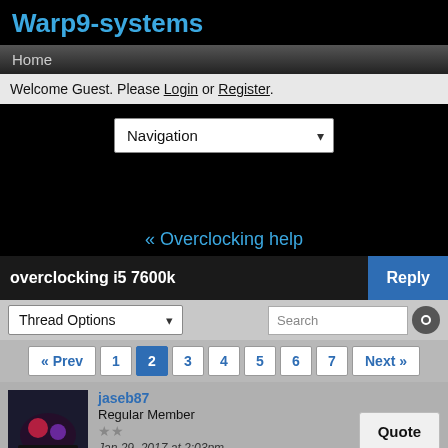Warp9-systems
Home
Welcome Guest. Please Login or Register.
Navigation
« Overclocking help
overclocking i5 7600k
Thread Options
« Prev 1 2 3 4 5 6 7 Next »
jaseb87
Regular Member
Jan 29, 2017 at 2:03pm